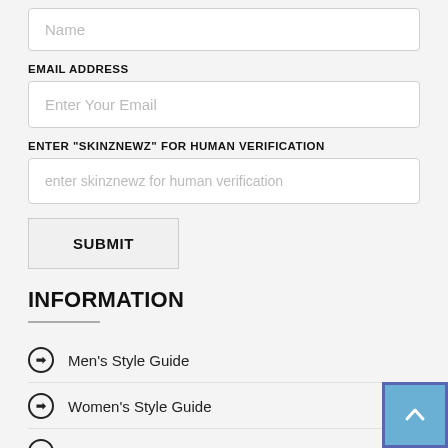Name
EMAIL ADDRESS
Enter Your Email
ENTER "SKINZNEWZ" FOR HUMAN VERIFICATION
enter skinznewz for human verification
SUBMIT
INFORMATION
Men's Style Guide
Women's Style Guide
Contact Us